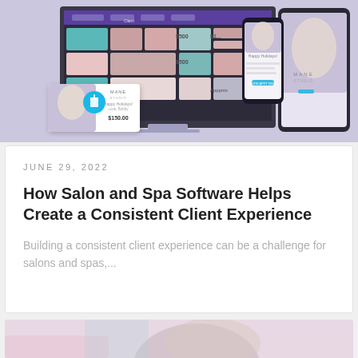[Figure (screenshot): Marketing software mockup showing Meevo salon/spa software interface displayed on desktop monitor, tablet, and smartphone devices with a blonde model image and 'MANE STUDIO' branding. A gift card promo card showing '$150.00' is visible in the foreground.]
JUNE 29, 2022
How Salon and Spa Software Helps Create a Consistent Client Experience
Building a consistent client experience can be a challenge for salons and spas,...
[Figure (photo): Partial view of a woman's face/hair, partially visible at the bottom of the page, with pink/teal color accents.]